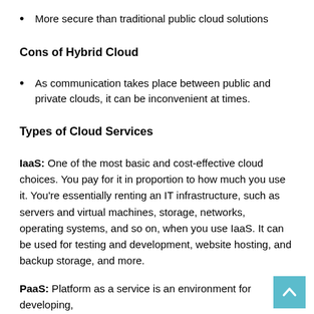More secure than traditional public cloud solutions
Cons of Hybrid Cloud
As communication takes place between public and private clouds, it can be inconvenient at times.
Types of Cloud Services
IaaS: One of the most basic and cost-effective cloud choices. You pay for it in proportion to how much you use it. You're essentially renting an IT infrastructure, such as servers and virtual machines, storage, networks, operating systems, and so on, when you use IaaS. It can be used for testing and development, website hosting, and backup storage, and more.
PaaS: Platform as a service is an environment for developing,